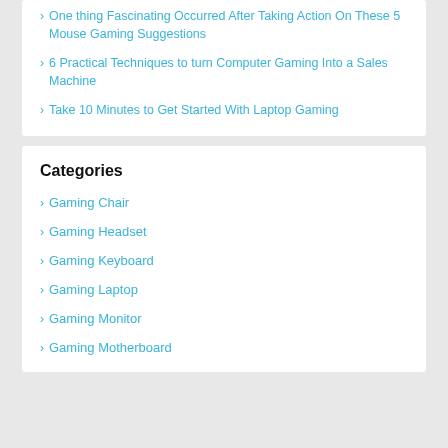One thing Fascinating Occurred After Taking Action On These 5 Mouse Gaming Suggestions
6 Practical Techniques to turn Computer Gaming Into a Sales Machine
Take 10 Minutes to Get Started With Laptop Gaming
Categories
Gaming Chair
Gaming Headset
Gaming Keyboard
Gaming Laptop
Gaming Monitor
Gaming Motherboard